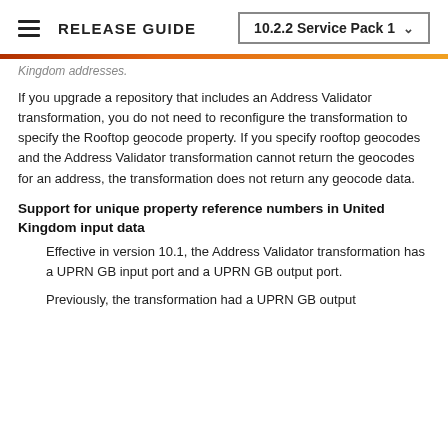RELEASE GUIDE  10.2.2 Service Pack 1
Kingdom addresses.
If you upgrade a repository that includes an Address Validator transformation, you do not need to reconfigure the transformation to specify the Rooftop geocode property. If you specify rooftop geocodes and the Address Validator transformation cannot return the geocodes for an address, the transformation does not return any geocode data.
Support for unique property reference numbers in United Kingdom input data
Effective in version 10.1, the Address Validator transformation has a UPRN GB input port and a UPRN GB output port.
Previously, the transformation had a UPRN GB output